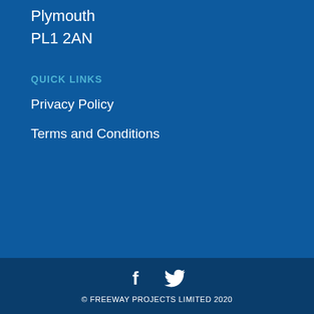Plymouth
PL1 2AN
QUICK LINKS
Privacy Policy
Terms and Conditions
[Figure (illustration): Social media icons: Facebook (f) and Twitter (bird)]
© FREEWAY PROJECTS LIMITED 2020